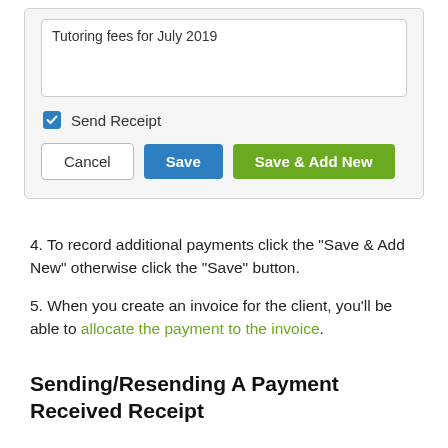[Figure (screenshot): Form panel showing a textarea with 'Tutoring fees for July 2019', a checked blue 'Send Receipt' checkbox, and three buttons: Cancel (white/bordered), Save (blue), and Save & Add New (green).]
4. To record additional payments click the "Save & Add New" otherwise click the "Save" button.
5. When you create an invoice for the client, you'll be able to allocate the payment to the invoice.
Sending/Resending A Payment Received Receipt